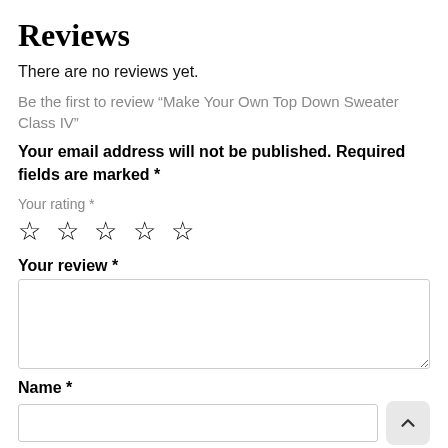Reviews
There are no reviews yet.
Be the first to review “Make Your Own Top Down Sweater Class IV”
Your email address will not be published. Required fields are marked *
Your rating *
☆ ☆ ☆ ☆ ☆
Your review *
Name *